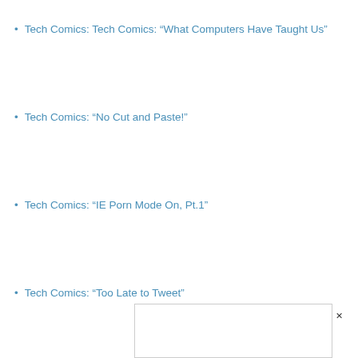Tech Comics: Tech Comics: “What Computers Have Taught Us”
Tech Comics: “No Cut and Paste!”
Tech Comics: “IE Porn Mode On, Pt.1”
Tech Comics: “Too Late to Tweet”